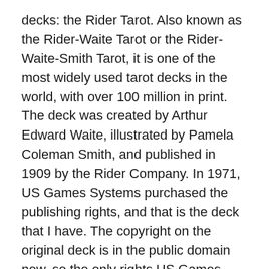decks: the Rider Tarot. Also known as the Rider-Waite Tarot or the Rider-Waite-Smith Tarot, it is one of the most widely used tarot decks in the world, with over 100 million in print. The deck was created by Arthur Edward Waite, illustrated by Pamela Coleman Smith, and published in 1909 by the Rider Company. In 1971, US Games Systems purchased the publishing rights, and that is the deck that I have. The copyright on the original deck is in the public domain now, so the only rights US Games Systems owns are any changes made after 1971.
One of the decks in my collection is a color-it-yourself deck — the B.O.T.A. deck. I thought coloring the cards would be an interesting way to learn the tarot, and since I didn't want to ruin what might be a collector's item, and since the B.O.T.A. deck is still under copyright, I downloaded a black and white copy of the Rider deck to